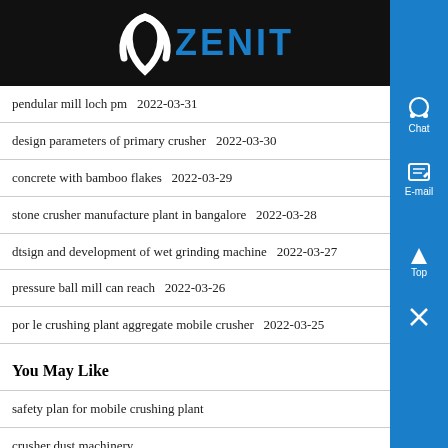[Figure (logo): Zenit company logo — white arch/boomerang mark with blue ZENIT text on black background]
pendular mill loch pm  2022-03-31
design parameters of primary crusher  2022-03-30
concrete with bamboo flakes  2022-03-29
stone crusher manufacture plant in bangalore  2022-03-28
dtsign and development of wet grinding machine  2022-03-27
pressure ball mill can reach  2022-03-26
por le crushing plant aggregate mobile crusher  2022-03-25
You May Like
safety plan for mobile crushing plant
crusher dust machinery